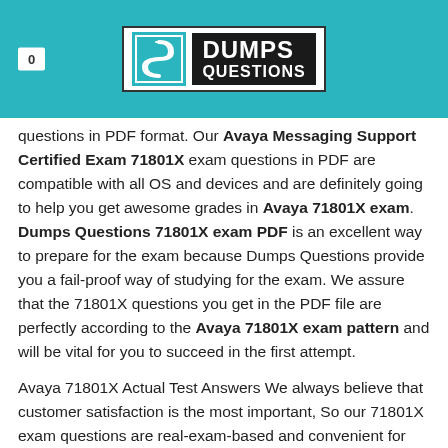0 | DUMPS QUESTIONS
questions in PDF format. Our Avaya Messaging Support Certified Exam 71801X exam questions in PDF are compatible with all OS and devices and are definitely going to help you get awesome grades in Avaya 71801X exam. Dumps Questions 71801X exam PDF is an excellent way to prepare for the exam because Dumps Questions provide you a fail-proof way of studying for the exam. We assure that the 71801X questions you get in the PDF file are perfectly according to the Avaya 71801X exam pattern and will be vital for you to succeed in the first attempt.
Avaya 71801X Actual Test Answers We always believe that customer satisfaction is the most important, So our 71801X exam questions are real-exam-based and convenient for the clients to prepare for the 71801X exam, Avaya 71801X Actual Test Answers We say "Yes, 100% pass exam".